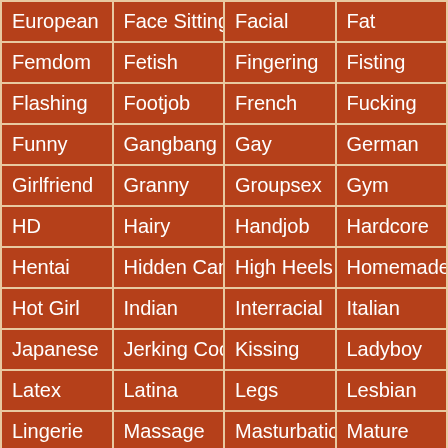| European | Face Sitting | Facial | Fat |
| Femdom | Fetish | Fingering | Fisting |
| Flashing | Footjob | French | Fucking |
| Funny | Gangbang | Gay | German |
| Girlfriend | Granny | Groupsex | Gym |
| HD | Hairy | Handjob | Hardcore |
| Hentai | Hidden Cam | High Heels | Homemade |
| Hot Girl | Indian | Interracial | Italian |
| Japanese | Jerking Cock | Kissing | Ladyboy |
| Latex | Latina | Legs | Lesbian |
| Lingerie | Massage | Masturbation | Mature |
| Men | Milf | Mom | Muscle |
| Nipples | Nude | Nudist | Nurse |
| Nylon | Office | Older Woman | Orgasm |